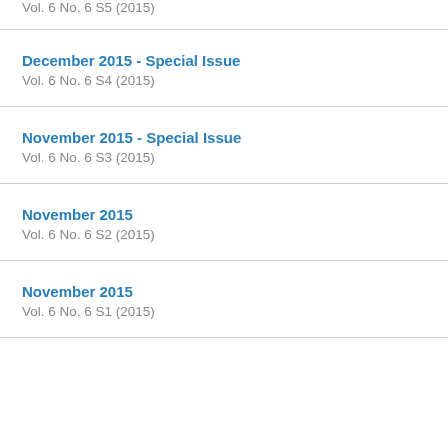Vol. 6 No. 6 S5 (2015)
December 2015 - Special Issue
Vol. 6 No. 6 S4 (2015)
November 2015 - Special Issue
Vol. 6 No. 6 S3 (2015)
November 2015
Vol. 6 No. 6 S2 (2015)
November 2015
Vol. 6 No. 6 S1 (2015)